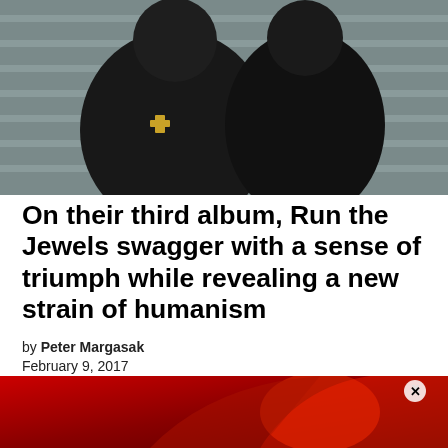[Figure (photo): Two men standing back-to-back against a concrete wall with horizontal lines. The man on the left wears a black t-shirt and a large gold cross necklace. The man on the right wears a dark jacket. Both are hip-hop artists Killer Mike and El-P of Run the Jewels.]
On their third album, Run the Jewels swagger with a sense of triumph while revealing a new strain of humanism
by Peter Margasak
February 9, 2017
Killer Mike and El-P up the ante on their self-released third album as Run the Jewels, tapping into floor
[Figure (illustration): Advertisement banner with red and black stylized graphic illustration at the bottom of the page.]